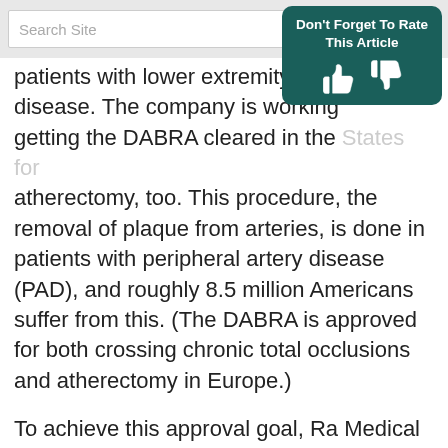Search Site
patients with lower extremity vascular disease. The company is working on getting the DABRA cleared in the States for atherectomy, too. This procedure, the removal of plaque from arteries, is done in patients with peripheral artery disease (PAD), and roughly 8.5 million Americans suffer from this. (The DABRA is approved for both crossing chronic total occlusions and atherectomy in Europe.)
To achieve this approval goal, Ra Medical is now enrolling 125 patients for a clinical trial in atherectomy that could be completed this year. Enrollment is expected to be done by